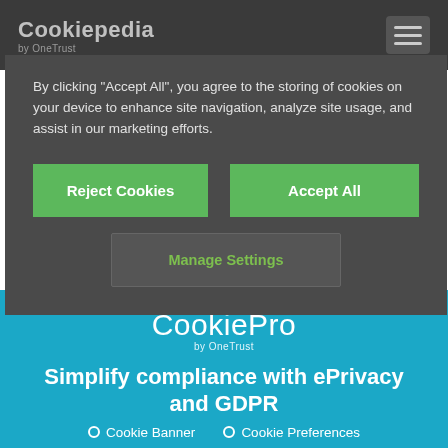Cookiepedia by OneTrust
By clicking "Accept All", you agree to the storing of cookies on your device to enhance site navigation, analyze site usage, and assist in our marketing efforts.
Reject Cookies
Accept All
Manage Settings
CookiePro by OneTrust
Simplify compliance with ePrivacy and GDPR
Cookie Banner
Cookie Preferences